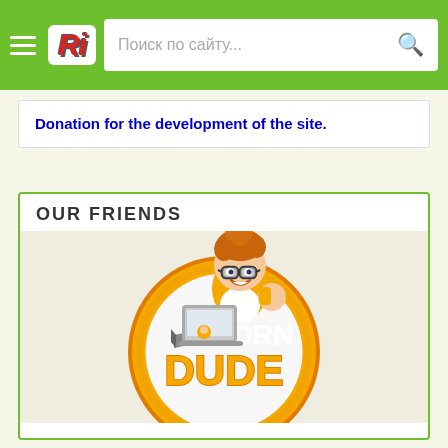Ri — navigation bar with search
Donation for the development of the site.
OUR FRIENDS
[Figure (logo): The Porn Dude logo — cartoon character of a ginger guy with glasses holding a laptop, in an orange circle, with text THE PORN DUDE and www.theporndude.com]